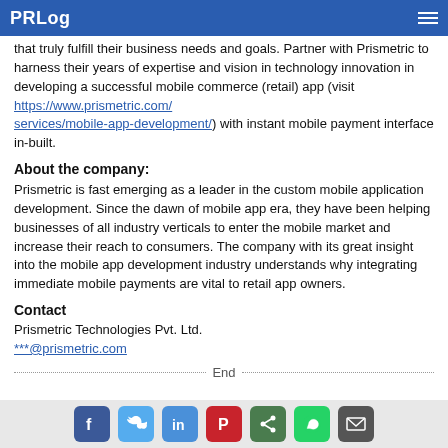PRLog
that truly fulfill their business needs and goals. Partner with Prismetric to harness their years of expertise and vision in technology innovation in developing a successful mobile commerce (retail) app (visit https://www.prismetric.com/services/mobile-app-development/) with instant mobile payment interface in-built.
About the company:
Prismetric is fast emerging as a leader in the custom mobile application development. Since the dawn of mobile app era, they have been helping businesses of all industry verticals to enter the mobile market and increase their reach to consumers. The company with its great insight into the mobile app development industry understands why integrating immediate mobile payments are vital to retail app owners.
Contact
Prismetric Technologies Pvt. Ltd.
***@prismetric.com
End